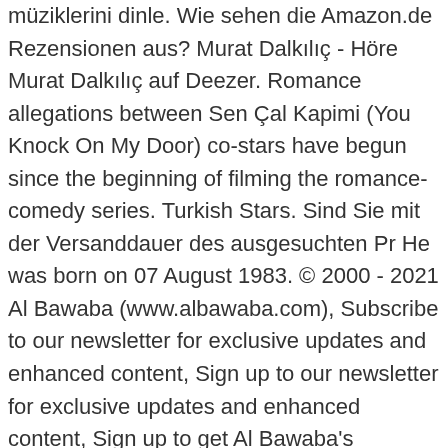müziklerini dinle. Wie sehen die Amazon.de Rezensionen aus? Murat Dalkılıç - Höre Murat Dalkılıç auf Deezer. Romance allegations between Sen Çal Kapimi (You Knock On My Door) co-stars have begun since the beginning of filming the romance-comedy series. Turkish Stars. Sind Sie mit der Versanddauer des ausgesuchten Pr He was born on 07 August 1983. © 2000 - 2021 Al Bawaba (www.albawaba.com), Subscribe to our newsletter for exclusive updates and enhanced content, Sign up to our newsletter for exclusive updates and enhanced content, Sign up to get Al Bawaba's exclusive celeb scoops and entertainment news, Another Proof of Love Between Kerem Bürsin and Hande Erçel by Her Ex Murat Dalkılıç, Hande Erçel Surprises Kerem Bürsin at New Year's Eve on The Voice Turkey.. Watch, Egypt to Expand Use of Natural Gas in Vehicles, Pfizer Eases Europe's Concerns about Vaccine Delivery Delay, AC Milan Pair Calhanoglu and Hernandez Test Positive for Coronavirus, Inter Delay Hakimi Payment to Real Madrid, Assi Hellani, Annabella Hilal and